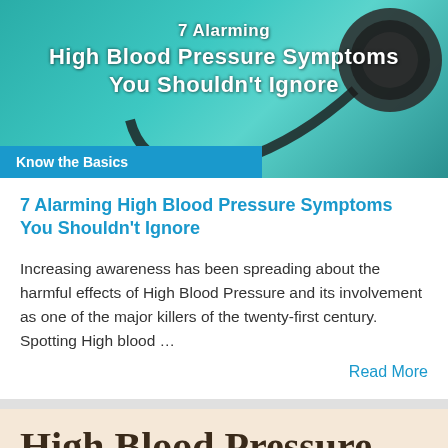[Figure (photo): Stethoscope on teal background with white text overlay reading '7 Alarming High Blood Pressure Symptoms You Shouldn't Ignore']
Know the Basics
7 Alarming High Blood Pressure Symptoms You Shouldn't Ignore
Increasing awareness has been spreading about the harmful effects of High Blood Pressure and its involvement as one of the major killers of the twenty-first century. Spotting High blood …
Read More
[Figure (infographic): Beige/cream background with large dark brown serif text reading 'High Blood Pressure' and the beginning of another line partially visible]